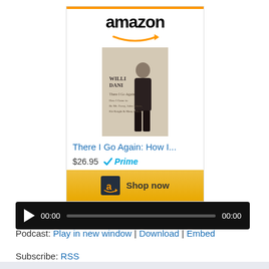[Figure (screenshot): Amazon advertisement showing a book titled 'There I Go Again: How I...' by William Daniels priced at $26.95 with Prime badge, Amazon logo at top with orange arrow, book cover image, and 'Shop now' button]
[Figure (screenshot): Audio player widget with play button, time display showing 00:00, progress bar, and end time 00:00 on black background]
Podcast: Play in new window | Download | Embed
Subscribe: RSS